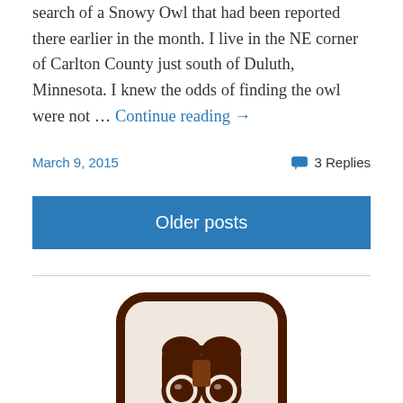search of a Snowy Owl that had been reported there earlier in the month. I live in the NE corner of Carlton County just south of Duluth, Minnesota. I knew the odds of finding the owl were not … Continue reading →
March 9, 2015
3 Replies
Older posts
[Figure (logo): The Photo Naturalist logo: a rounded square badge with dark brown border on a cream background, featuring a pair of binoculars icon and the text 'The Photo Naturalist' in white italic lettering.]